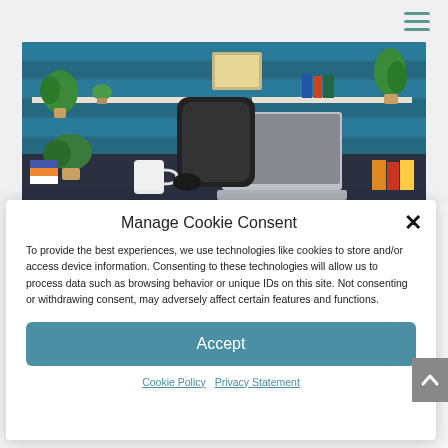[Figure (photo): Office workspace photo showing a laptop on a dark desk, an office chair, a white mug, plants, and blue-painted wooden wall shelves with books and decorative items in the background.]
Manage Cookie Consent
To provide the best experiences, we use technologies like cookies to store and/or access device information. Consenting to these technologies will allow us to process data such as browsing behavior or unique IDs on this site. Not consenting or withdrawing consent, may adversely affect certain features and functions.
Accept
Cookie Policy   Privacy Statement